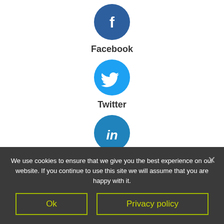[Figure (illustration): Facebook social share button: dark blue circle with white 'f' icon, labeled 'Facebook' below]
[Figure (illustration): Twitter social share button: medium blue circle with white bird icon, labeled 'Twitter' below]
[Figure (illustration): LinkedIn social share button: medium blue circle with white 'in' icon, labeled 'LinkedIn' below]
[Figure (illustration): More options button: light gray circle with three dots (ellipsis)]
Related products
We use cookies to ensure that we give you the best experience on our website. If you continue to use this site we will assume that you are happy with it.
Ok
Privacy policy